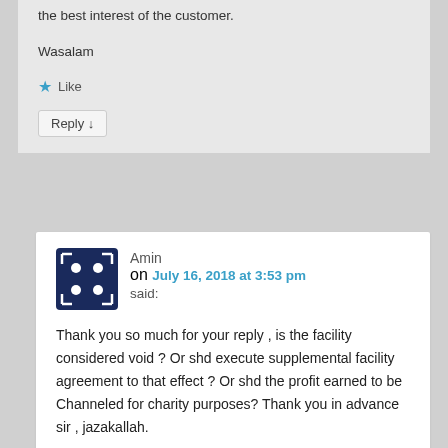the best interest of the customer.
Wasalam
Like
Reply ↓
Amin on July 16, 2018 at 3:53 pm said:
Thank you so much for your reply , is the facility considered void ? Or shd execute supplemental facility agreement to that effect ? Or shd the profit earned to be Channeled for charity purposes? Thank you in advance sir , jazakallah.
Like